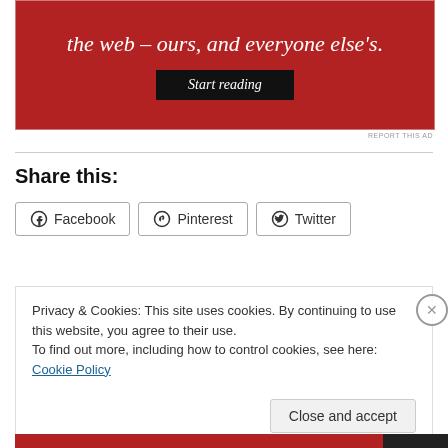[Figure (other): Red advertisement banner with italic serif text 'the web – ours, and everyone else's.' and a black 'Start reading' button]
REPORT THIS AD
Share this:
Facebook  Pinterest  Twitter
Privacy & Cookies: This site uses cookies. By continuing to use this website, you agree to their use.
To find out more, including how to control cookies, see here: Cookie Policy
Close and accept